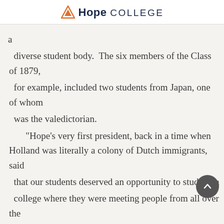Hope College
a diverse student body.  The six members of the Class of 1879, for example, included two students from Japan, one of whom was the valedictorian. "Hope's very first president, back in a time when Holland was literally a colony of Dutch immigrants, said that our students deserved an opportunity to study at a college where they were meeting people from all over the country and all over the world, and took some very